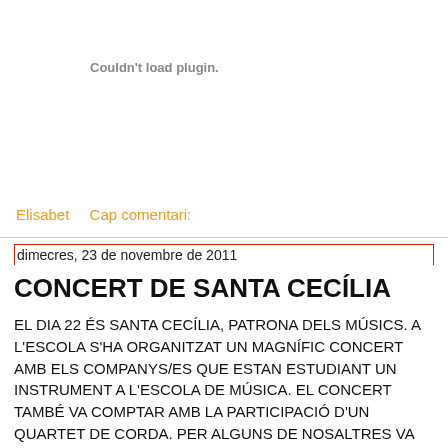[Figure (other): Plugin placeholder area showing 'Couldn't load plugin.' message in grey]
Elisabet    Cap comentari:
dimecres, 23 de novembre de 2011
CONCERT DE SANTA CECÍLIA
EL DIA 22 ÉS SANTA CECÍLIA, PATRONA DELS MÚSICS. A L'ESCOLA S'HA ORGANITZAT UN MAGNÍFIC CONCERT AMB ELS COMPANYS/ES QUE ESTAN ESTUDIANT UN INSTRUMENT A L'ESCOLA DE MÚSICA. EL CONCERT TAMBÉ VA COMPTAR AMB LA PARTICIPACIÓ D'UN QUARTET DE CORDA. PER ALGUNS DE NOSALTRES VA